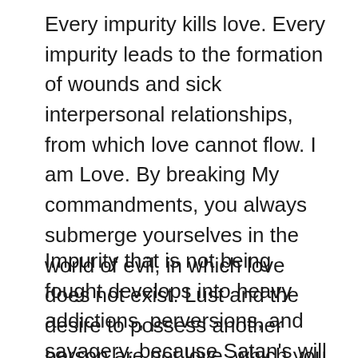Every impurity kills love. Every impurity leads to the formation of wounds and sick interpersonal relationships, from which love cannot flow. I am Love. By breaking My commandments, you always submerge yourselves in the world of evil, in which love does not exist. Lust and the desire to possess another person are not love, which you find out at the first difficulties. Psycho-physical addiction is not love, nor is any kind of infatuation. They are all kinds of snares, which the evil spirits use to lure, deceive and destroy human souls.
Impurity that is not being fought develops into heavy addictions, perversions, and savagery, because Satan's will is to deprive mankind of its dignity and likeness of God. Sin always leads to